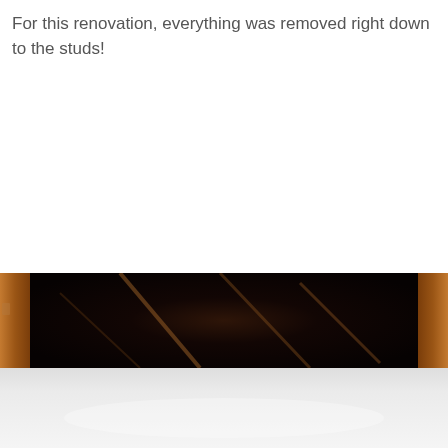For this renovation, everything was removed right down to the studs!
[Figure (photo): Photograph showing the interior of a building stripped down to the wooden studs during renovation. The image shows exposed wooden framing/studs in a dark interior space, with the bottom portion showing a lighter reflective surface.]